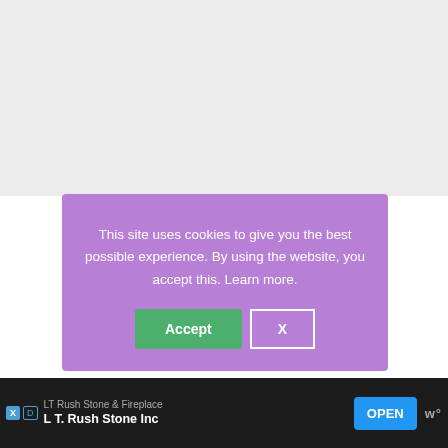[Figure (screenshot): Cookie consent banner overlay with purple background. Text reads: 'This site uses cookies to give you the best possible experience. By using the website, you accept this. Learn more.' Two buttons: green 'Accept' button and white-bordered 'X' button.]
Key Features
Brand: Knit Picks
Product Line: Comfy Fingering Yarn
[Figure (screenshot): Advertisement bar at bottom: LT Rush Stone & Fireplace / LT. Rush Stone Inc, with OPEN button and Wunderkind logo]